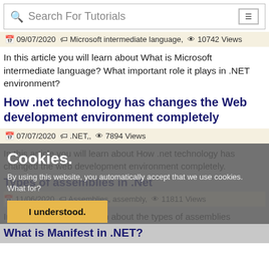Search For Tutorials
09/07/2020  Microsoft intermediate language,  10742 Views
In this article you will learn about What is Microsoft intermediate language? What important role it plays in .NET environment?
How .net technology has changes the Web development environment completely
07/07/2020  .NET,,  7894 Views
In this article you will learn about How .net technology has changed the web development environment completely.
Types of assemblies in .Net
11/06/2020  Assemblies, assembly,  11811 Views
In this article you will learn about the types of assemblies
What is Manifest in .NET?